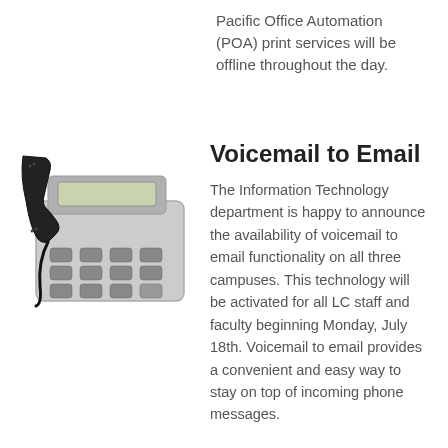Pacific Office Automation (POA) print services will be offline throughout the day.
[Figure (photo): A silver and black office desk telephone with handset, keypad, and LCD display screen.]
Voicemail to Email
The Information Technology department is happy to announce the availability of voicemail to email functionality on all three campuses. This technology will be activated for all LC staff and faculty beginning Monday, July 18th. Voicemail to email provides a convenient and easy way to stay on top of incoming phone messages.